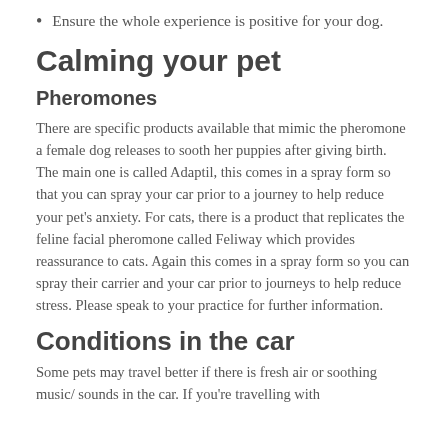Ensure the whole experience is positive for your dog.
Calming your pet
Pheromones
There are specific products available that mimic the pheromone a female dog releases to sooth her puppies after giving birth. The main one is called Adaptil, this comes in a spray form so that you can spray your car prior to a journey to help reduce your pet's anxiety. For cats, there is a product that replicates the feline facial pheromone called Feliway which provides reassurance to cats. Again this comes in a spray form so you can spray their carrier and your car prior to journeys to help reduce stress. Please speak to your practice for further information.
Conditions in the car
Some pets may travel better if there is fresh air or soothing music/ sounds in the car. If you're travelling with